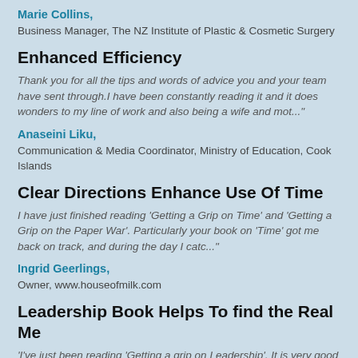Marie Collins,
Business Manager, The NZ Institute of Plastic & Cosmetic Surgery
Enhanced Efficiency
Thank you for all the tips and words of advice you and your team have sent through.I have been constantly reading it and it does wonders to my line of work and also being a wife and mot..."
Anaseini Liku,
Communication & Media Coordinator, Ministry of Education, Cook Islands
Clear Directions Enhance Use Of Time
I have just finished reading 'Getting a Grip on Time' and 'Getting a Grip on the Paper War'.  Particularly your book on 'Time' got me back on track, and during the day I catc..."
Ingrid Geerlings,
Owner, www.houseofmilk.com
Leadership Book Helps To find the Real Me
'I've just been reading 'Getting a grip on Leadership'.  It is very good and has had an impact on me.  I realised I'd lost my way a